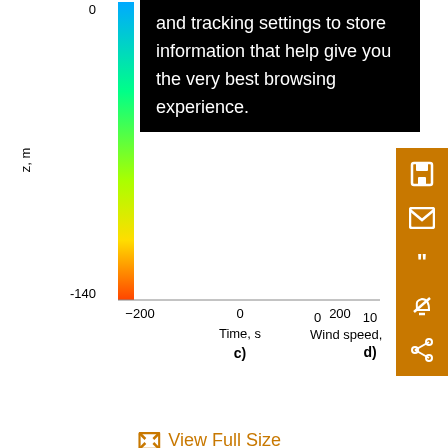[Figure (screenshot): Partial view of a scientific figure showing a color-coded depth/time plot (panel c) and wind speed profile (panel d), partially covered by a cookie/tracking consent popup overlay. The left side shows a colorbar with a y-axis labeled 'z, m' ranging from 0 to -140. The x-axis of panel c shows 'Time, s' with ticks at -200, 0, 200. Panel d shows 'Wind speed,' with ticks at 0, 10, 2... Panel labels 'c)' and 'd)' are visible.]
and tracking settings to store information that help give you the very best browsing experience.
View Full Size
rep
of t
of A
and
Tec
12;
10.